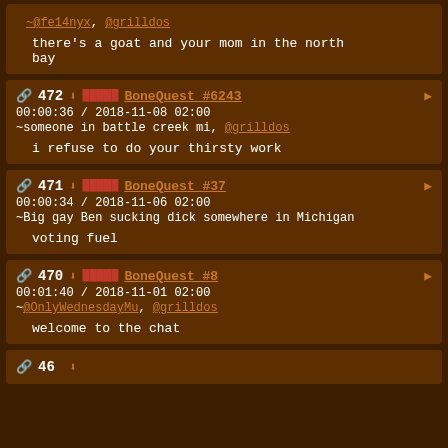~@fe14nyx, @grilldos
    there's a goat and your mom in the north bay
472 BoneQuest #6243
00:00:36 / 2018-11-08 02:00
~someone in battle creek mi, @grilldos
    i refuse to do your thirsty work
471 BoneQuest #37
00:00:34 / 2018-11-06 02:00
~Big gay Ben sucking dick somewhere in Michigan
    voting fuel
470 BoneQuest #8
00:01:40 / 2018-11-01 02:00
~@OnlyWednesdayMu, @grilldos
    welcome to the chat